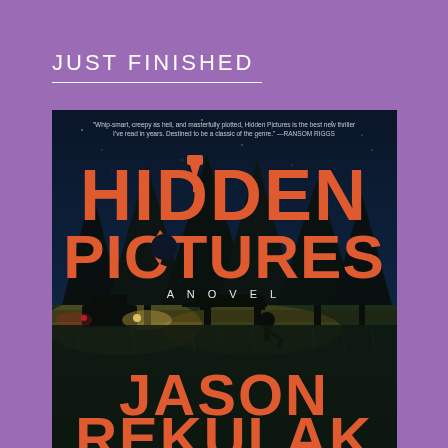JUST FINISHED
[Figure (photo): Book cover of 'Hidden Pictures' by Jason Rekulak — a novel. The cover shows large orange-red text 'HIDDEN PICTURES' on a dark night-sky background with silhouetted pine trees and a figure digging with a shovel illuminated by headlights. Below reads 'A NOVEL' and 'JASON REKULAK'. A small quote at the top reads 'Whip-smart, creepy as hell, and masterfully plotted, Hidden Pictures is the best new thriller I've read in years. Destined to be a classic of the genre.' — RANSOM RIGGS]